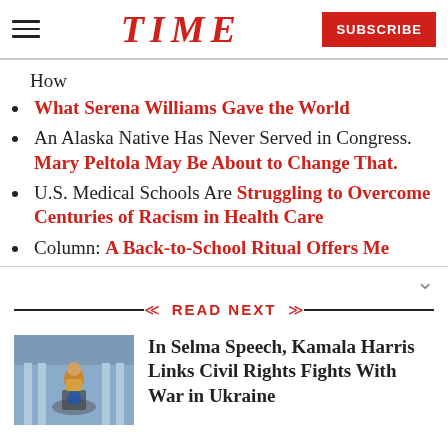TIME — SUBSCRIBE
How
What Serena Williams Gave the World
An Alaska Native Has Never Served in Congress. Mary Peltola May Be About to Change That.
U.S. Medical Schools Are Struggling to Overcome Centuries of Racism in Health Care
Column: A Back-to-School Ritual Offers Me
READ NEXT
[Figure (photo): Photo thumbnail of Kamala Harris speaking at a podium]
In Selma Speech, Kamala Harris Links Civil Rights Fights With War in Ukraine